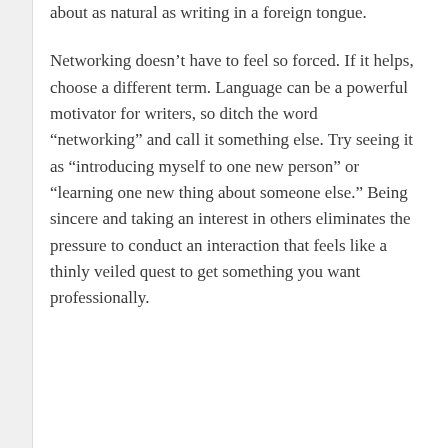about as natural as writing in a foreign tongue.
Networking doesn’t have to feel so forced. If it helps, choose a different term. Language can be a powerful motivator for writers, so ditch the word “networking” and call it something else. Try seeing it as “introducing myself to one new person” or “learning one new thing about someone else.” Being sincere and taking an interest in others eliminates the pressure to conduct an interaction that feels like a thinly veiled quest to get something you want professionally.